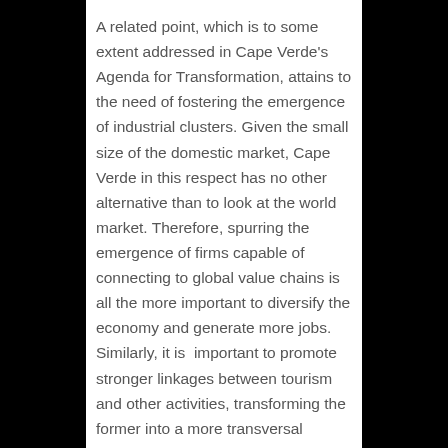A related point, which is to some extent addressed in Cape Verde's Agenda for Transformation, attains to the need of fostering the emergence of industrial clusters. Given the small size of the domestic market, Cape Verde in this respect has no other alternative than to look at the world market. Therefore, spurring the emergence of firms capable of connecting to global value chains is all the more important to diversify the economy and generate more jobs. Similarly, it is  important to promote stronger linkages between tourism and other activities, transforming the former into a more transversal industry. Once again, despite different context-specific conditions, the challenge of promoting industrialization and connecting domestic firms to regional